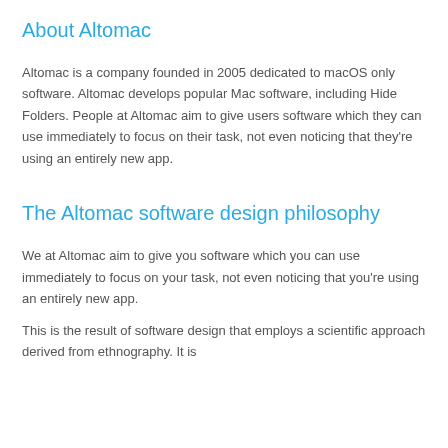About Altomac
Altomac is a company founded in 2005 dedicated to macOS only software. Altomac develops popular Mac software, including Hide Folders. People at Altomac aim to give users software which they can use immediately to focus on their task, not even noticing that they're using an entirely new app.
The Altomac software design philosophy
We at Altomac aim to give you software which you can use immediately to focus on your task, not even noticing that you're using an entirely new app.
This is the result of software design that employs a scientific approach derived from ethnography. It is